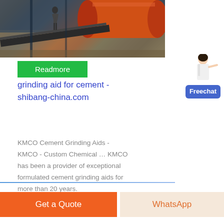[Figure (photo): Industrial cement grinding facility interior showing a large orange rotating drum/kiln and conveyor belts]
Readmore
grinding aid for cement - shibang-china.com
KMCO Cement Grinding Aids - KMCO - Custom Chemical … KMCO has been a provider of exceptional formulated cement grinding aids for more than 20 years.
[Figure (illustration): Chat widget with woman figure and Free chat button]
Get a Quote
WhatsApp